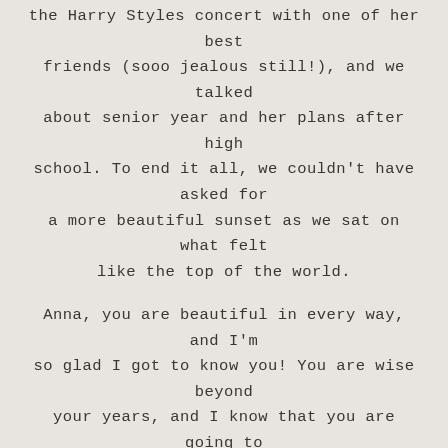the Harry Styles concert with one of her best friends (sooo jealous still!), and we talked about senior year and her plans after high school. To end it all, we couldn't have asked for a more beautiful sunset as we sat on what felt like the top of the world.
Anna, you are beautiful in every way, and I'm so glad I got to know you! You are wise beyond your years, and I know that you are going to take Texas by storm when you leave for college next fall. Thank you so much for inviting me into your life and letting me capture you during your senior year.
Hair and Makeup: Behren's Artistry